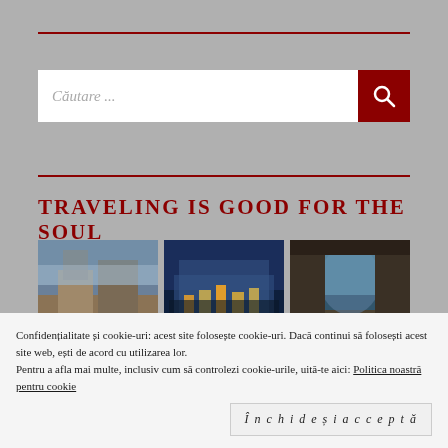[Figure (other): Red horizontal rule separator line]
[Figure (other): Search bar with text 'Căutare ...' and red search button with magnifying glass icon]
[Figure (other): Red horizontal rule separator line]
TRAVELING IS GOOD FOR THE SOUL
[Figure (photo): Three travel photos side by side: left shows a cliff monastery (Meteora), center shows a coastal colorful village at night (Cinque Terre), right shows a rocky arch or cave opening]
Confidențialitate și cookie-uri: acest site folosește cookie-uri. Dacă continui să folosești acest site web, ești de acord cu utilizarea lor.
Pentru a afla mai multe, inclusiv cum să controlezi cookie-urile, uită-te aici: Politica noastră pentru cookie
Închide și acceptă